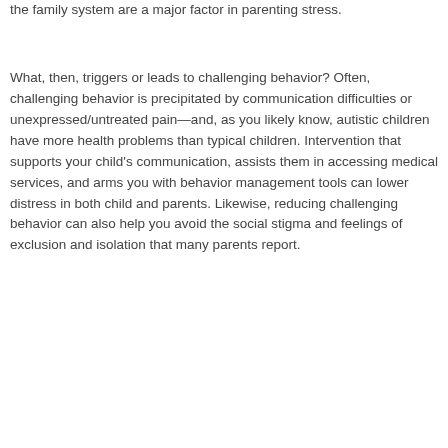the family system are a major factor in parenting stress.
What, then, triggers or leads to challenging behavior? Often, challenging behavior is precipitated by communication difficulties or unexpressed/untreated pain—and, as you likely know, autistic children have more health problems than typical children. Intervention that supports your child's communication, assists them in accessing medical services, and arms you with behavior management tools can lower distress in both child and parents. Likewise, reducing challenging behavior can also help you avoid the social stigma and feelings of exclusion and isolation that many parents report.